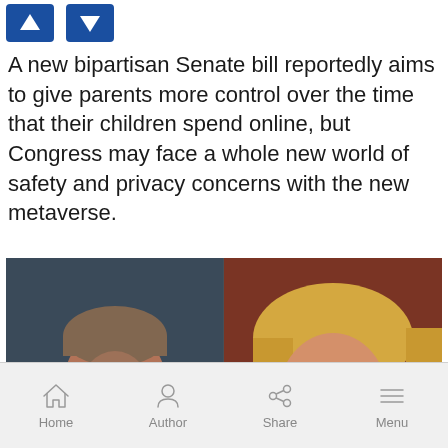[Figure (other): Navigation buttons: up arrow (blue) and down arrow (blue)]
A new bipartisan Senate bill reportedly aims to give parents more control over the time that their children spend online, but Congress may face a whole new world of safety and privacy concerns with the new metaverse.
[Figure (photo): Side-by-side photos of two politicians (a man on the left and a woman on the right), appearing to be Senators speaking during a hearing.]
Home  Author  Share  Menu